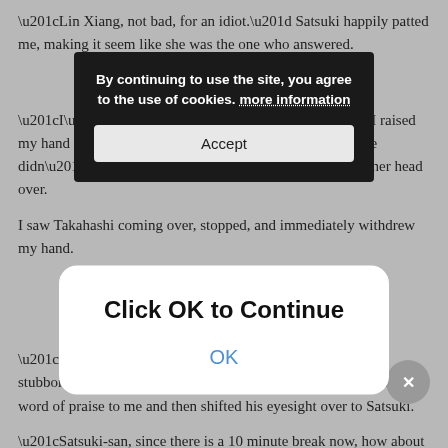“Lin Xiang, not bad, for an idiot.” Satsuki happily patted me, making it seem like she was the one who answered.
[Figure (screenshot): Dark cookie consent banner with text 'By continuing to use the site, you agree to the use of cookies. more information' and an Accept button]
“I’m an idiot… in that case, who are you? I raised my hand in preparation to mess up Satsuki’s hair. She didn’t evade; rather, she took the initiative to stretch her head over.
I saw Takahashi coming over, stopped, and immediately withdrew my hand.
[Figure (screenshot): White modal dialog with title 'Click OK to Continue' and a blue OK link button]
“Xiang~ You are really impressive. Even Teacher, that stubborn old man, was helpless against you.” Takahashi said a word of praise to me and then shifted his eyesight over to Satsuki.
“Satsuki-san, since there is a 10 minute break now, how about we go buy some juice? I’ll treat you.”
“Thanks, Takahashi-kun, I’m not thirsty.” After saying that, Satsuki took out her English book and started to study some words.
Takahashi paid it no mind and smiled: “In that case, good luck with your studying, I won’t disturb you.”